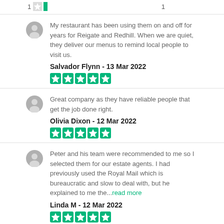[Figure (other): Rating bar row: 1 star icon, green bar, number 1]
My restaurant has been using them on and off for years for Reigate and Redhill. When we are quiet, they deliver our menus to remind local people to visit us.
Salvador Flynn - 13 Mar 2022
[Figure (other): Five green star rating icons]
Great company as they have reliable people that get the job done right.
Olivia Dixon - 12 Mar 2022
[Figure (other): Five green star rating icons]
Peter and his team were recommended to me so I selected them for our estate agents. I had previously used the Royal Mail which is bureaucratic and slow to deal with, but he explained to me the...read more
Linda M - 12 Mar 2022
[Figure (other): Five green star rating icons (partially visible)]